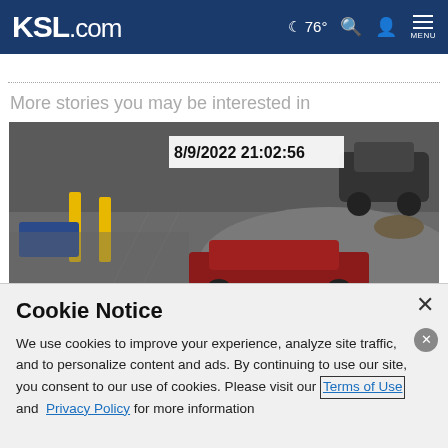KSL.com  ☽ 76° 🔍 👤 MENU
More stories you may be interested in
[Figure (screenshot): Surveillance camera footage dated 8/9/2022 21:02:56 showing a parking lot with yellow bollards and a red vehicle]
Cookie Notice
We use cookies to improve your experience, analyze site traffic, and to personalize content and ads. By continuing to use our site, you consent to our use of cookies. Please visit our Terms of Use and  Privacy Policy for more information